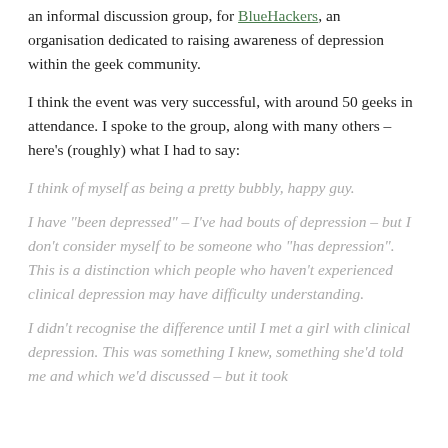an informal discussion group, for BlueHackers, an organisation dedicated to raising awareness of depression within the geek community.
I think the event was very successful, with around 50 geeks in attendance. I spoke to the group, along with many others – here's (roughly) what I had to say:
I think of myself as being a pretty bubbly, happy guy.
I have "been depressed" – I've had bouts of depression – but I don't consider myself to be someone who "has depression". This is a distinction which people who haven't experienced clinical depression may have difficulty understanding.
I didn't recognise the difference until I met a girl with clinical depression. This was something I knew, something she'd told me and which we'd discussed – but it took